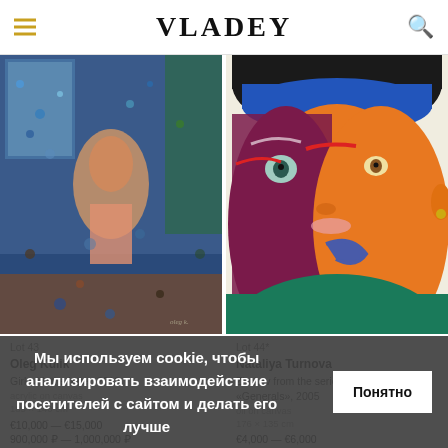VLADEY
[Figure (photo): Painting: Girl with the letter, 2019 by Oleg Kulik. Colorful impressionistic scene of a figure in an interior room.]
[Figure (photo): Painting: Zhukov from the series Generals, 2005 by Nataliya Turnova. Bold graphic portrait of a man with hat in orange, green, purple tones.]
Lot 43
Oleg Kulik
Girl with the letter, 2019
acrylic on canvas
185 x 140 cm
€10,000 — €15,000
900,000 ₽ — 1,000,000 ₽
Lot 44*
Nataliya Turnova
Zhukov from the series «Generals», 2005
oil on canvas
176 x 135 cm
€4,000 — €6,000
Мы используем cookie, чтобы анализировать взаимодействие посетителей с сайтом и делать его лучше
Понятно